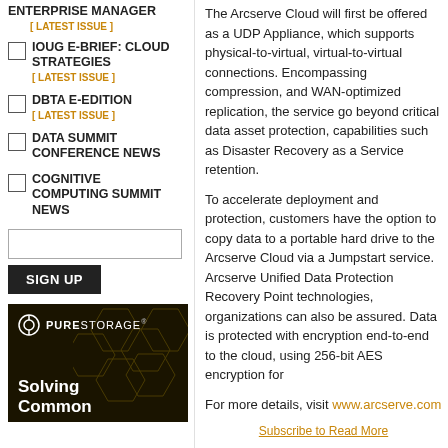ENTERPRISE MANAGER
[LATEST ISSUE]
IOUG E-BRIEF: CLOUD STRATEGIES
[LATEST ISSUE]
DBTA E-EDITION
[LATEST ISSUE]
DATA SUMMIT CONFERENCE NEWS
COGNITIVE COMPUTING SUMMIT NEWS
The Arcserve Cloud will first be offered as a UDP Appliance, which supports physical-to-virtual, virtual-to-virtual connections. Encompassing compression, and WAN-optimized replication, the service go beyond critical data asset protection, capabilities such as Disaster Recovery as a Service retention.
To accelerate deployment and protection, customers have the option to copy data to a portable hard drive to the Arcserve Cloud via a Jumpstart service. Arcserve Unified Data Protection Recovery Point technologies, organizations can also be assured. Data is protected with encryption end-to-end to the cloud, using 256-bit AES encryption for
For more details, visit www.arcserve.com
[Figure (illustration): Pure Storage advertisement with hexagonal pattern background, logo and 'Solving Common' text]
Subscribe to Read More